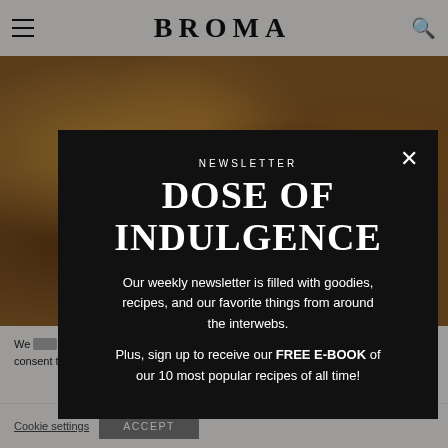BROMA
[Figure (photo): Close-up photo of chocolate pretzel snacks with caramel and pretzels, warm tones]
We ... most relevant ... preferences and repeat visits. By clicking "Accept", you consent to the use of ALL the cookies.
NEWSLETTER DOSE OF INDULGENCE
Our weekly newsletter is filled with goodies, recipes, and our favorite things from around the interwebs.
Plus, sign up to receive our FREE E-BOOK of our 10 most popular recipes of all time!
Cookie settings
ACCEPT